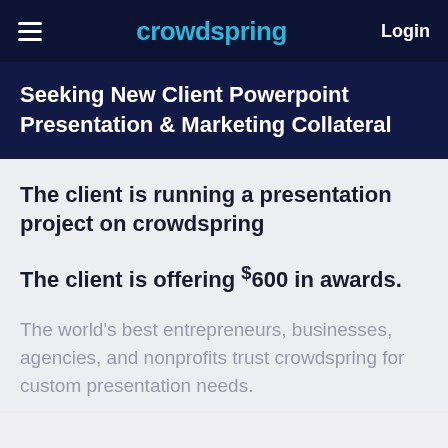crowdspring | Login
Seeking New Client Powerpoint Presentation & Marketing Collateral
The client is running a presentation project on crowdspring
The client is offering $600 in awards.
The world's best entrepreneurs, businesses, agencies, and nonprofits trust crowdspring for custom presentation needs.